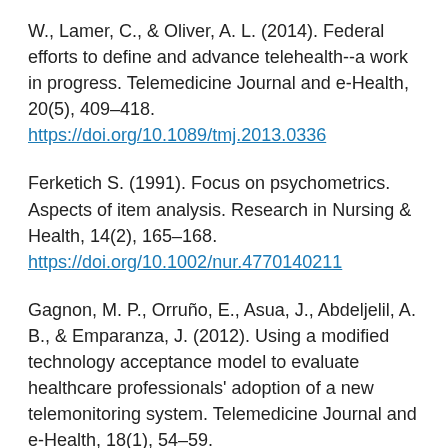W., Lamer, C., & Oliver, A. L. (2014). Federal efforts to define and advance telehealth--a work in progress. Telemedicine Journal and e-Health, 20(5), 409–418. https://doi.org/10.1089/tmj.2013.0336
Ferketich S. (1991). Focus on psychometrics. Aspects of item analysis. Research in Nursing & Health, 14(2), 165–168. https://doi.org/10.1002/nur.4770140211
Gagnon, M. P., Orruño, E., Asua, J., Abdeljelil, A. B., & Emparanza, J. (2012). Using a modified technology acceptance model to evaluate healthcare professionals' adoption of a new telemonitoring system. Telemedicine Journal and e-Health, 18(1), 54–59. https://doi.org/10.1089/tmj.2011.0066
Garvey, C., Bayles, M. P., Hamm, L. F., Hill, K., Holland, A., Limberg, T. M., & Spruit, M. A. (2016). Pulmonary rehabilitation exercise prescription in chronic obstructive